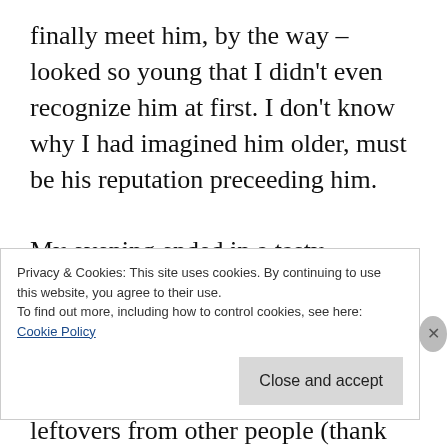finally meet him, by the way – looked so young that I didn't even recognize him at first. I don't know why I had imagined him older, must be his reputation preceeding him.

My evening ended in a tasty Indonesian restaurant, where a large group of testers was diving into a rice table as we entered. I was invited to eat (heaps of) spicy leftovers from other people (thank you Rob Lambert and John Stevenson for feeding the hungry and the
Privacy & Cookies: This site uses cookies. By continuing to use this website, you agree to their use.
To find out more, including how to control cookies, see here:
Cookie Policy
Close and accept